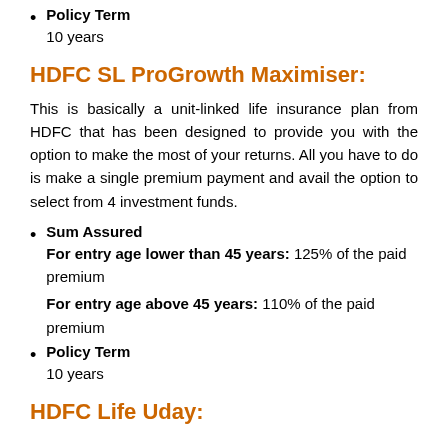Policy Term
10 years
HDFC SL ProGrowth Maximiser:
This is basically a unit-linked life insurance plan from HDFC that has been designed to provide you with the option to make the most of your returns. All you have to do is make a single premium payment and avail the option to select from 4 investment funds.
Sum Assured
For entry age lower than 45 years: 125% of the paid premium
For entry age above 45 years: 110% of the paid premium
Policy Term
10 years
HDFC Life Uday: